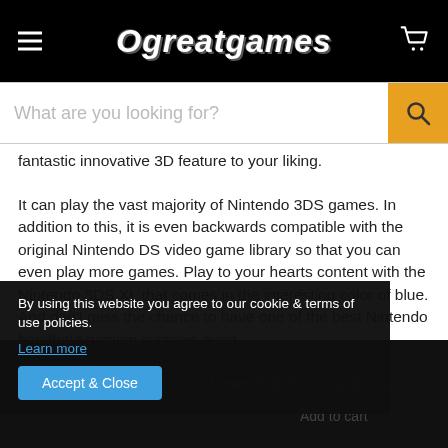Ogreatgames
fantastic innovative 3D feature to your liking.
It can play the vast majority of Nintendo 3DS games. In addition to this, it is even backwards compatible with the original Nintendo DS video game library so that you can even play more games. Play to your hearts content with the Nintendo 3DS XL that comes in the interesting color of blue. And don't miss the chance to have one of the best Nintendo handheld gaming systems ever!
By using this website you agree to our cookie & terms of use policies. Learn more
Nintendo 3DS XL-Handhel...
Add to cart